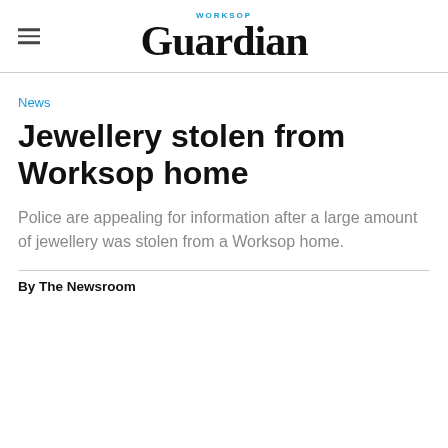Worksop Guardian
News
Jewellery stolen from Worksop home
Police are appealing for information after a large amount of jewellery was stolen from a Worksop home.
By The Newsroom